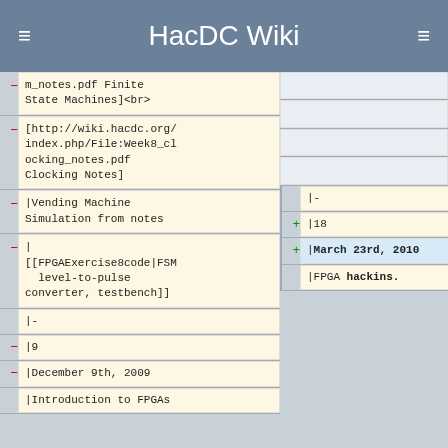HacDC Wiki
m_notes.pdf Finite State Machines]<br>
[http://wiki.hacdc.org/index.php/File:Week8_clocking_notes.pdf Clocking Notes]
|Vending Machine Simulation from notes
| [[FPGAExercise8code|FSM level-to-pulse converter, testbench]]
|-
|9
|-
|18
-|December 9th, 2009
+|March 23rd, 2010
|Introduction to FPGAs
|FPGA hackins.